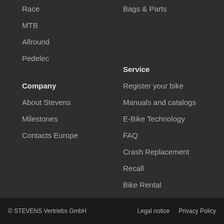Race
Bags & Parts
MTB
Allround
Pedelec
Company
Service
About Stevens
Register your bike
Milestones
Manuals and catalogs
Contacts Europe
E-Bike Technology
FAQ
Crash Replacement
Recall
Bike Rental
Product Years
© STEVENS Vertriebs GmbH    Legal notice    Privacy Policy